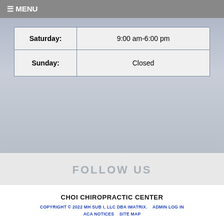≡ MENU
| Day | Hours |
| --- | --- |
| Saturday: | 9:00 am-6:00 pm |
| Sunday: | Closed |
FOLLOW US
[Figure (illustration): Facebook and Twitter social media icon buttons]
CHOI CHIROPRACTIC CENTER
COPYRIGHT © 2022 MH SUB I, LLC DBA IMATRIX.    ADMIN LOG IN    ACA NOTICES    SITE MAP